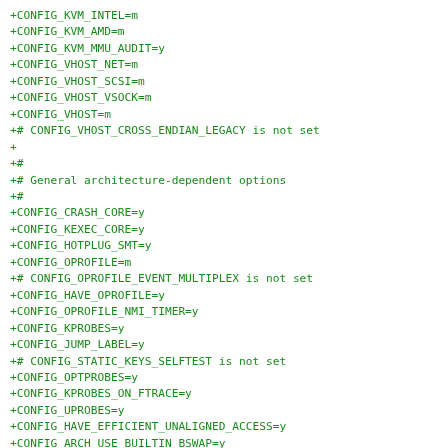+CONFIG_KVM_INTEL=m
+CONFIG_KVM_AMD=m
+CONFIG_KVM_MMU_AUDIT=y
+CONFIG_VHOST_NET=m
+CONFIG_VHOST_SCSI=m
+CONFIG_VHOST_VSOCK=m
+CONFIG_VHOST=m
+# CONFIG_VHOST_CROSS_ENDIAN_LEGACY is not set
+
+#
+# General architecture-dependent options
+#
+CONFIG_CRASH_CORE=y
+CONFIG_KEXEC_CORE=y
+CONFIG_HOTPLUG_SMT=y
+CONFIG_OPROFILE=m
+# CONFIG_OPROFILE_EVENT_MULTIPLEX is not set
+CONFIG_HAVE_OPROFILE=y
+CONFIG_OPROFILE_NMI_TIMER=y
+CONFIG_KPROBES=y
+CONFIG_JUMP_LABEL=y
+# CONFIG_STATIC_KEYS_SELFTEST is not set
+CONFIG_OPTPROBES=y
+CONFIG_KPROBES_ON_FTRACE=y
+CONFIG_UPROBES=y
+CONFIG_HAVE_EFFICIENT_UNALIGNED_ACCESS=y
+CONFIG_ARCH_USE_BUILTIN_BSWAP=y
+CONFIG_KRETPROBES=y
+CONFIG_USER_RETURN_NOTIFIER=y
+CONFIG_HAVE_IOREMAP_PROT=y